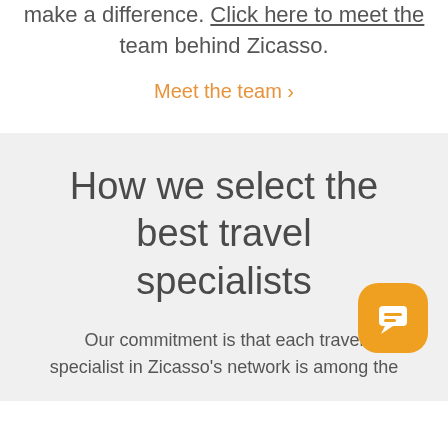make a difference. Click here to meet the team behind Zicasso.
Meet the team ›
How we select the best travel specialists
Our commitment is that each travel specialist in Zicasso's network is among the